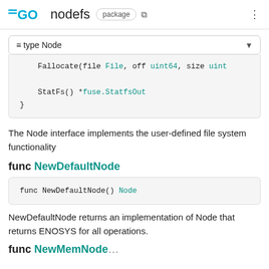GO nodefs package
≡ type Node
Fallocate(file File, off uint64, size uint

    StatFs() *fuse.StatfsOut
}
The Node interface implements the user-defined file system functionality
func NewDefaultNode
func NewDefaultNode() Node
NewDefaultNode returns an implementation of Node that returns ENOSYS for all operations.
func NewMemNode...